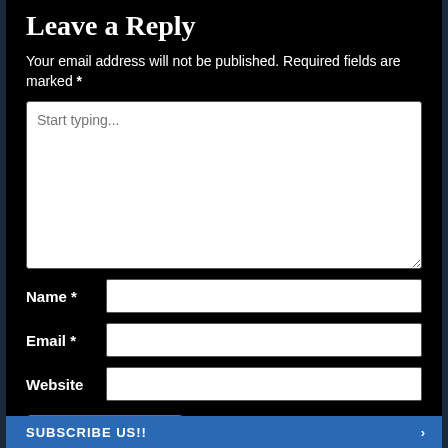Leave a Reply
Your email address will not be published. Required fields are marked *
Start typing...
Name *
Email *
Website
Post Comment
SUBSCRIBE US!!